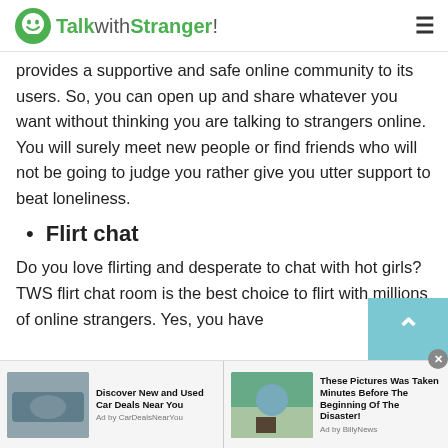TalkwithStranger!
provides a supportive and safe online community to its users. So, you can open up and share whatever you want without thinking you are talking to strangers online. You will surely meet new people or find friends who will not be going to judge you rather give you utter support to beat loneliness.
Flirt chat
Do you love flirting and desperate to chat with hot girls? TWS flirt chat room is the best choice to flirt with millions of online strangers. Yes, you have
[Figure (screenshot): Advertisement bar with two ads: 'Discover New and Used Car Deals Near You' by CarDealsNearYou, and 'These Pictures Was Taken Minutes Before The Beginning Of The Disaster!' by BillyNews]